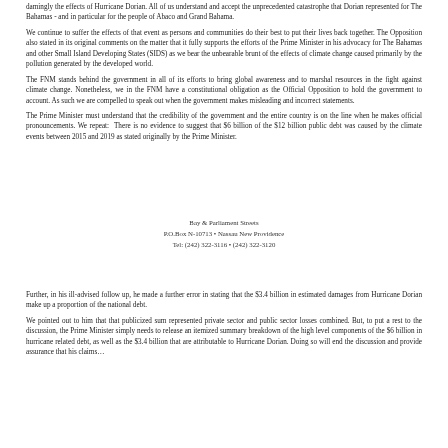…damingly the effects of Hurricane Dorian. All of us understand and accept the unprecedented catastrophe that Dorian represented for The Bahamas - and in particular for the people of Abaco and Grand Bahama.
We continue to suffer the effects of that event as persons and communities do their best to put their lives back together. The Opposition also stated in its original comments on the matter that it fully supports the efforts of the Prime Minister in his advocacy for The Bahamas and other Small Island Developing States (SIDS) as we bear the unbearable brunt of the effects of climate change caused primarily by the pollution generated by the developed world.
The FNM stands behind the government in all of its efforts to bring global awareness and to marshal resources in the fight against climate change. Nonetheless, we in the FNM have a constitutional obligation as the Official Opposition to hold the government to account. As such we are compelled to speak out when the government makes misleading and incorrect statements.
The Prime Minister must understand that the credibility of the government and the entire country is on the line when he makes official pronouncements. We repeat: There is no evidence to suggest that $6 billion of the $12 billion public debt was caused by the climate events between 2015 and 2019 as stated originally by the Prime Minister.
Bay & Parliament Streets
P.O.Box N-10713 • Nassau New Providence
Tel: (242) 322-3116 • (242) 322-3120
Further, in his ill-advised follow up, he made a further error in stating that the $3.4 billion in estimated damages from Hurricane Dorian make up a proportion of the national debt.
We pointed out to him that that publicized sum represented private sector and public sector losses combined. But, to put a rest to the discussion, the Prime Minister simply needs to release an itemized summary breakdown of the high level components of the $6 billion in hurricane related debt, as well as the $3.4 billion that are attributable to Hurricane Dorian. Doing so will end the discussion and provide assurance that his claims…